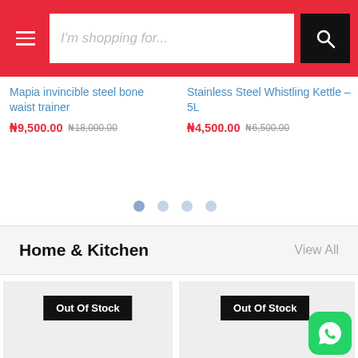I'm shopping for...
Mapia invincible steel bone waist trainer
₦9,500.00  ₦18,000.00
Stainless Steel Whistling Kettle – 5L
₦4,500.00  ₦6,500.00
Home & Kitchen
View All
Out Of Stock
Out Of Stock